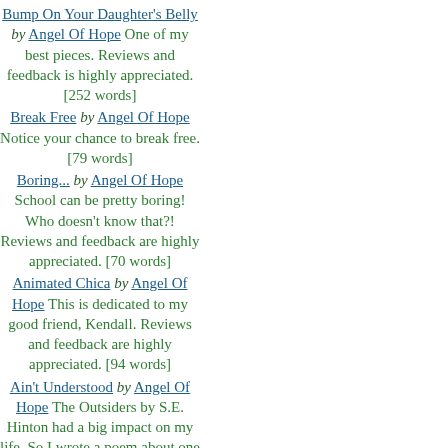Bump On Your Daughter's Belly by Angel Of Hope One of my best pieces. Reviews and feedback is highly appreciated. [252 words]
Break Free by Angel Of Hope Notice your chance to break free. [79 words]
Boring... by Angel Of Hope School can be pretty boring! Who doesn't know that?! Reviews and feedback are highly appreciated. [70 words]
Animated Chica by Angel Of Hope This is dedicated to my good friend, Kendall. Reviews and feedback are highly appreciated. [94 words]
Ain't Understood by Angel Of Hope The Outsiders by S.E. Hinton had a big impact on my life. So I wrote a poem about one of my fa... [122 words]